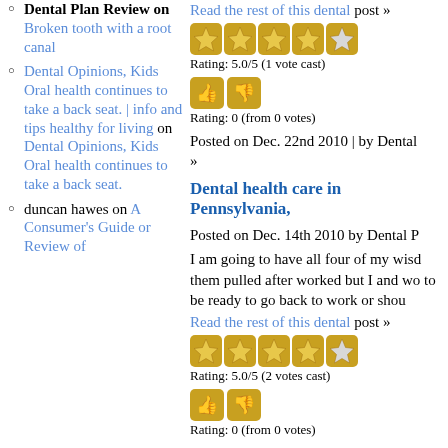Dental Plan Review on Broken tooth with a root canal
Dental Opinions, Kids Oral health continues to take a back seat. | info and tips healthy for living on Dental Opinions, Kids Oral health continues to take a back seat.
duncan hawes on A Consumer's Guide or Review of
Read the rest of this dental post »
Rating: 5.0/5 (1 vote cast)
Rating: 0 (from 0 votes)
Posted on Dec. 22nd 2010 | by Dental »
Dental health care in Pennsylvania,
Posted on Dec. 14th 2010 by Dental P
I am going to have all four of my wisd them pulled after worked but I and wo to be ready to go back to work or shou
Read the rest of this dental post »
Rating: 5.0/5 (2 votes cast)
Rating: 0 (from 0 votes)